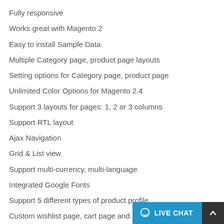Fully responsive
Works great with Magento 2
Easy to install Sample Data
Multiple Category page, product page layouts
Setting options for Category page, product page
Unlimited Color Options for Magento 2.4
Support 3 layouts for pages: 1, 2 or 3 columns
Support RTL layout
Ajax Navigation
Grid & List view
Support multi-currency, multi-language
Integrated Google Fonts
Support 5 different types of product profile
Custom wishlist page, cart page and contact page
Additional Footer, Back to top button and Navigation links
Support many browsers: Firefox, Ch…